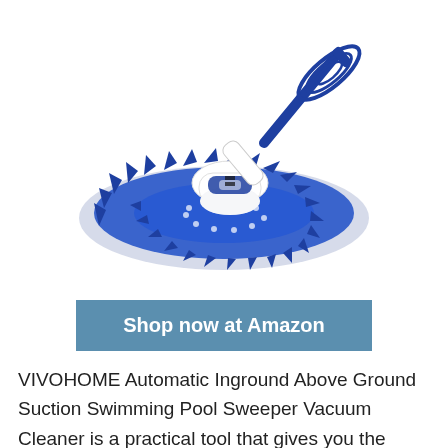[Figure (photo): VIVOHOME automatic pool sweeper vacuum cleaner product photo — white and blue robotic pool cleaner with circular blue bristle skirt and blue wire frame antenna on top, shown on white background]
Shop now at Amazon
VIVOHOME Automatic Inground Above Ground Suction Swimming Pool Sweeper Vacuum Cleaner is a practical tool that gives you the perfect cleaning solution. It lets you connect it to the